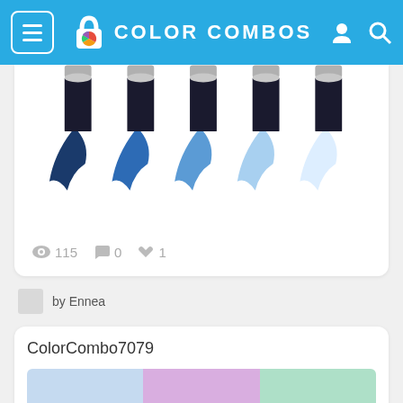COLOR COMBOS
[Figure (illustration): Five paint tubes in shades of blue from dark navy to very light blue, with paint squeezed out below each tube]
115   0   1
by Ennea
ColorCombo7079
[Figure (illustration): Three color swatches: light blue, light purple/pink, and light mint green]
105   0   1
by ...